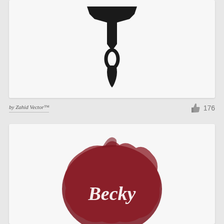[Figure (illustration): Black silhouette paint brush icon (top portion visible), centered on a light gray card background]
by Zahid Vector™
176
[Figure (logo): Dark red/maroon watercolor circle splash with white brush-script text reading 'Becky' or similar, on white card background]